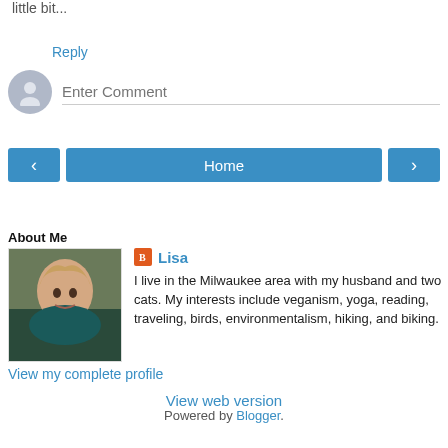little bit...
Reply
Enter Comment
Home
View web version
About Me
[Figure (photo): Profile photo of Lisa, a woman with long blonde hair smiling, wearing a teal top.]
Lisa
I live in the Milwaukee area with my husband and two cats. My interests include veganism, yoga, reading, traveling, birds, environmentalism, hiking, and biking.
View my complete profile
Powered by Blogger.